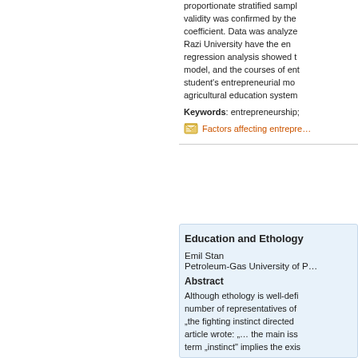proportionate stratified sampl... validity was confirmed by the... coefficient. Data was analyze... Razi University have the en... regression analysis showed t... model, and the courses of ent... student's entrepreneurial mo... agricultural education system...
Keywords: entrepreneurship;
Factors affecting entrepre...
Education and Ethology
Emil Stan
Petroleum-Gas University of P...
Abstract
Although ethology is well-defi... number of representatives of ... "the fighting instinct directed... article wrote: "... the main iss... term "instinct" implies the exis...